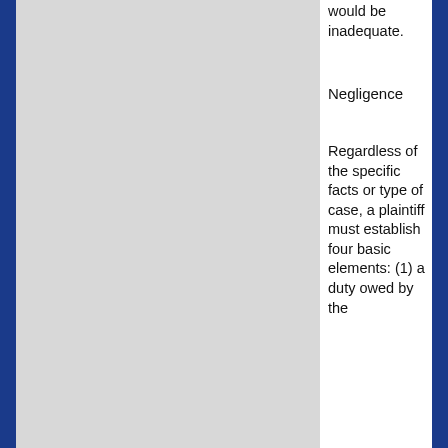would be inadequate.
Negligence
Regardless of the specific facts or type of case, a plaintiff must establish four basic elements: (1) a duty owed by the defendant; (2) a breach of the defendant's duty; (3) causation; and (4) damages. ... each element by
This website uses cookies to ensure you get the best experience on our website.
Learn more
Got it!
Top
each element by